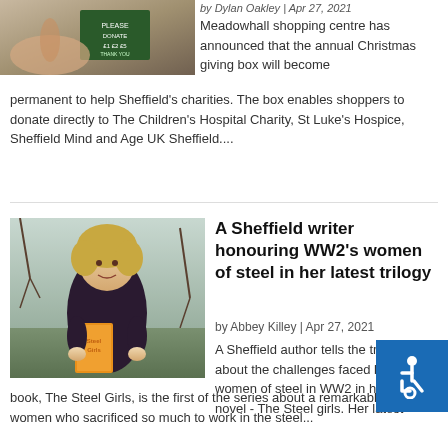[Figure (photo): Photo of a hand holding or touching a sign/donation box]
by Dylan Oakley | Apr 27, 2021
Meadowhall shopping centre has announced that the annual Christmas giving box will become permanent to help Sheffield's charities. The box enables shoppers to donate directly to The Children's Hospital Charity, St Luke's Hospice, Sheffield Mind and Age UK Sheffield....
[Figure (photo): Photo of a woman with curly blonde hair holding a book called 'Steel Girls', standing outdoors]
A Sheffield writer honouring WW2's women of steel in her latest trilogy
by Abbey Killey | Apr 27, 2021
A Sheffield author tells the true story about the challenges faced by the women of steel in WW2 in her new novel - The Steel girls. Her latest book, The Steel Girls, is the first of the series about a remarkable brand of women who sacrificed so much to work in the steel...